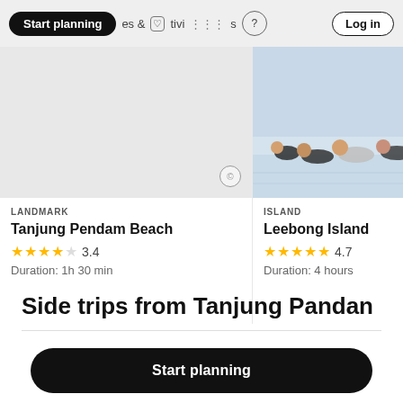Start planning | & Activities | ? | Log in
[Figure (photo): Gray placeholder image for Tanjung Pendam Beach with copyright circle icon]
LANDMARK
Tanjung Pendam Beach
3.4
Duration: 1h 30 min
[Figure (photo): People lying/playing in shallow pool water, Leebong Island activity photo]
ISLAND
Leebong Island
4.7
Duration: 4 hours
Side trips from Tanjung Pandan
Start planning